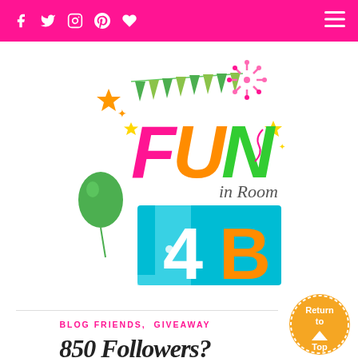Navigation header with social icons (Facebook, Twitter, Instagram, Pinterest, Bloglovin) and hamburger menu
[Figure (logo): Fun in Room 4B blog logo featuring colorful text 'FUN' in pink, orange, and green letters with bunting, fireworks, stars, and a green balloon. Below is a teal door graphic with '4B' in white/orange text. Subtitle 'in Room' in gray.]
BLOG FRIENDS, GIVEAWAY
850 Followers?